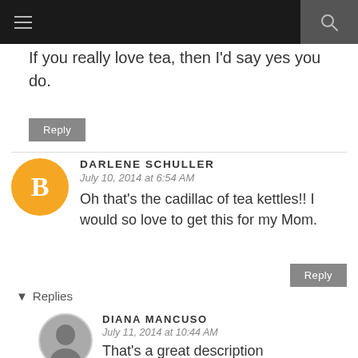≡  [search icon]
If you really love tea, then I'd say yes you do.
Reply
DARLENE SCHULLER
July 10, 2014 at 6:54 AM
Oh that's the cadillac of tea kettles!! I would so love to get this for my Mom.
Reply
▾ Replies
DIANA MANCUSO
July 11, 2014 at 10:44 AM
That's a great description